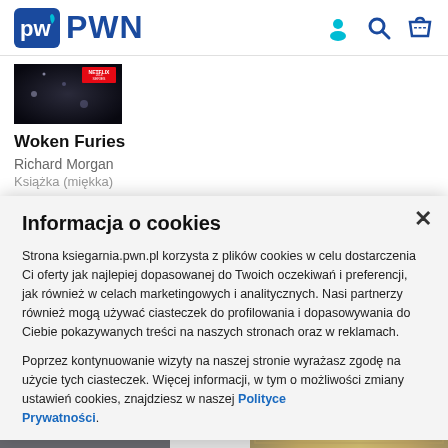PWN
[Figure (photo): Book cover image with Netflix badge, dark background]
Woken Furies
Richard Morgan
Książka (miękka)
Informacja o cookies
Strona ksiegarnia.pwn.pl korzysta z plików cookies w celu dostarczenia Ci oferty jak najlepiej dopasowanej do Twoich oczekiwań i preferencji, jak również w celach marketingowych i analitycznych. Nasi partnerzy również mogą używać ciasteczek do profilowania i dopasowywania do Ciebie pokazywanych treści na naszych stronach oraz w reklamach.
Poprzez kontynuowanie wizyty na naszej stronie wyrażasz zgodę na użycie tych ciasteczek. Więcej informacji, w tym o możliwości zmiany ustawień cookies, znajdziesz w naszej Polityce Prywatności.
[Figure (photo): Two book cover thumbnails at bottom of page]